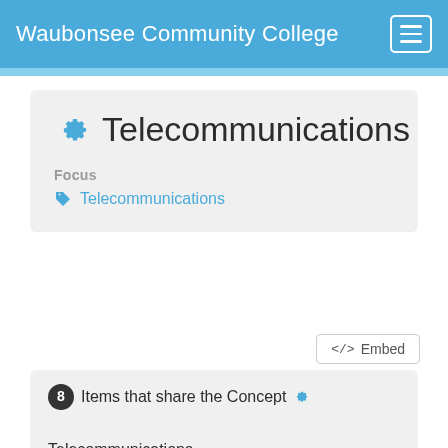Waubonsee Community College
Telecommunications
Focus
Telecommunications
</>  Embed
8 Items that share the Concept ⚙ Telecommunications
[Figure (screenshot): Three thumbnail cards showing mobile device screenshots with tablet icons, partially visible at bottom of page]